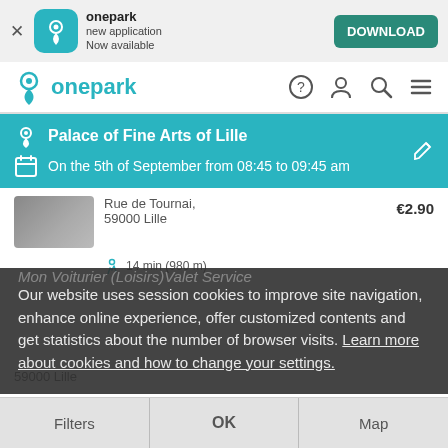[Figure (screenshot): App download banner with onepark icon, app name 'onepark new application Now available', and a DOWNLOAD button]
[Figure (screenshot): Onepark website navigation bar with logo and icons]
[Figure (screenshot): Blue info bar showing location 'Palace of Fine Arts of Lille' and date 'On the 5th of September from 08:45 to 09:45 am']
Rue de Tournai, 59000 Lille
14 min (980 m)   €2.90
Our website uses session cookies to improve site navigation, enhance online experience, offer customized contents and get statistics about the number of browser visits. Learn more about cookies and how to change your settings.
Filters   OK   Map